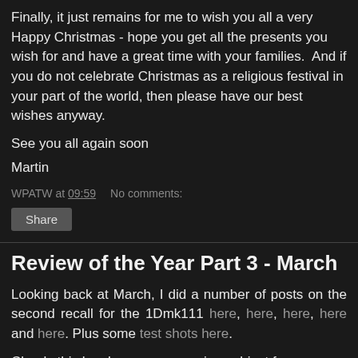Finally, it just remains for me to wish you all a very Happy Christmas - hope you get all the presents you wish for and have a great time with your families.  And if you do not celebrate Christmas as a religious festival in your part of the world, then please have our best wishes anyway.
See you all again soon
Martin
WPATW at 09:59    No comments:
Share
Review of the Year Part 3 - March
Looking back at March, I did a number of posts on the second recall for the 1Dmk111 here, here, here, here and here. Plus some test shots here.
Clearly this has been a very vexing subject for a number of